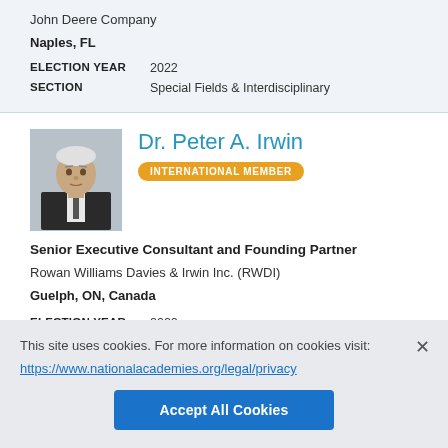John Deere Company
Naples, FL
ELECTION YEAR   2022
SECTION   Special Fields & Interdisciplinary
Dr. Peter A. Irwin
INTERNATIONAL MEMBER
Senior Executive Consultant and Founding Partner
Rowan Williams Davies & Irwin Inc. (RWDI)
Guelph, ON, Canada
ELECTION YEAR   2022
SECTION   Civil & Environmental Engineering
This site uses cookies. For more information on cookies visit:
https://www.nationalacademies.org/legal/privacy
Accept All Cookies